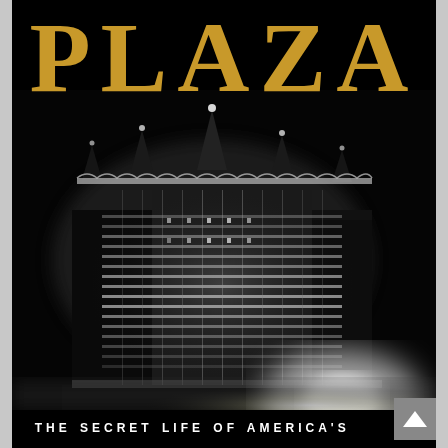PLAZA
[Figure (photo): Black and white nighttime photograph of The Plaza Hotel building illuminated with lights against a dark sky, showing the ornate French Renaissance architecture with turrets and elaborate facade details. A bright light source glows at the lower right of the building.]
THE SECRET LIFE OF AMERICA'S